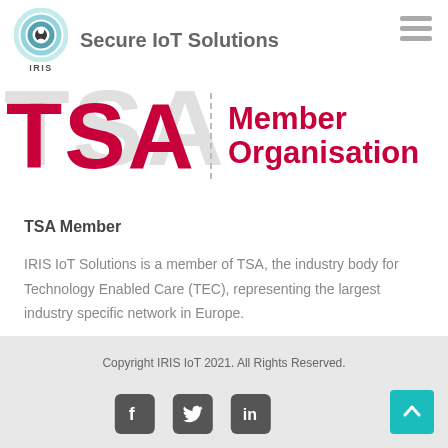Secure IoT Solutions
[Figure (logo): IRIS IoT Solutions logo with concentric circular rings and a person icon, labeled IRIS below]
[Figure (illustration): TSA Member Organisation badge — large bold red TSA letters with a vertical dashed divider and 'Member Organisation' text in crimson]
TSA Member
IRIS IoT Solutions is a member of TSA, the industry body for Technology Enabled Care (TEC), representing the largest industry specific network in Europe.
Copyright IRIS IoT 2021. All Rights Reserved.